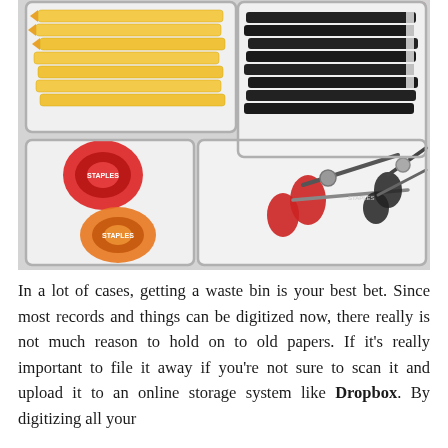[Figure (photo): Overhead view of an organized desk drawer with compartments containing yellow pencils, black pens, red and black scissors, red and orange correction tape dispensers, all neatly sorted in white plastic organizer trays.]
In a lot of cases, getting a waste bin is your best bet. Since most records and things can be digitized now, there really is not much reason to hold on to old papers. If it's really important to file it away if you're not sure to scan it and upload it to an online storage system like Dropbox. By digitizing all your